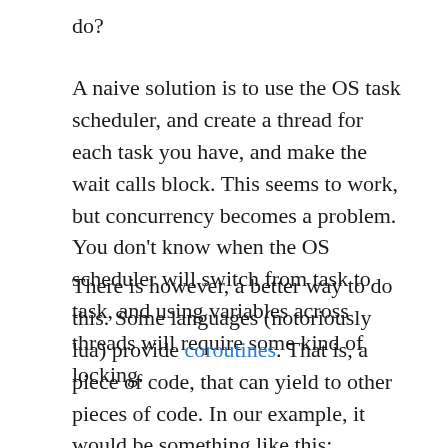do?
A naive solution is to use the OS task scheduler, and create a thread for each task you have, and make the wait calls block. This seems to work, but concurrency becomes a problem. You don't know when the OS scheduler will switch from task to task, and using variables across threads will require some kind of locking.
There is however, a better way to do this. Some languages (notoriously lua) provide coroutines. That is, a piece of code, that can yield to other pieces of code. In our example, it would be something like this: